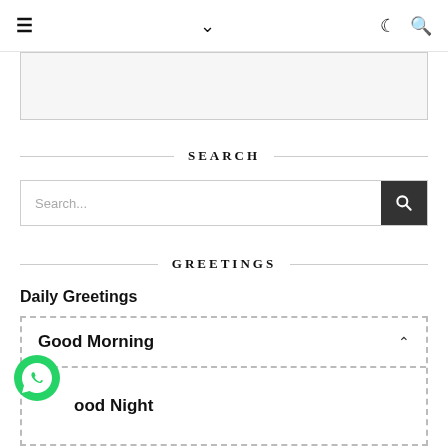≡  ∨  ☾ 🔍
[Figure (screenshot): Partial banner/advertisement image placeholder with light gray background and border]
SEARCH
Search...
GREETINGS
Daily Greetings
Good Morning
Good Night
[Figure (logo): WhatsApp green circular logo icon]